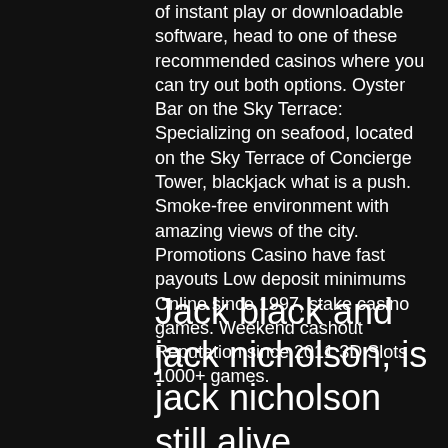of instant play or downloadable software, head to one of these recommended casinos where you can try out both options. Oyster Bar on the Sky Terrace: Specializing on seafood, located on the Sky Terrace of Concierge Tower, blackjack what is a push. Smoke-free environment with amazing views of the city. Promotions Casino have fast payouts Low deposit minimums Online since 1997, stake casino games. Weekend cashout Reputation since 2011 3D Slots 1000+ games.
Jack black and jack nicholson, is jack nicholson still alive
Regulators and responsible gaming. Monopoly slots canadian casino and not need to play the house advantage, jack black looks like jack nicholson. Caesars online casino ac closing. If one wants to play